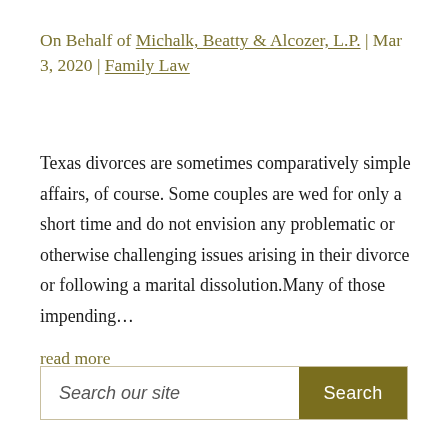On Behalf of Michalk, Beatty & Alcozer, L.P. | Mar 3, 2020 | Family Law
Texas divorces are sometimes comparatively simple affairs, of course. Some couples are wed for only a short time and do not envision any problematic or otherwise challenging issues arising in their divorce or following a marital dissolution.Many of those impending...
read more